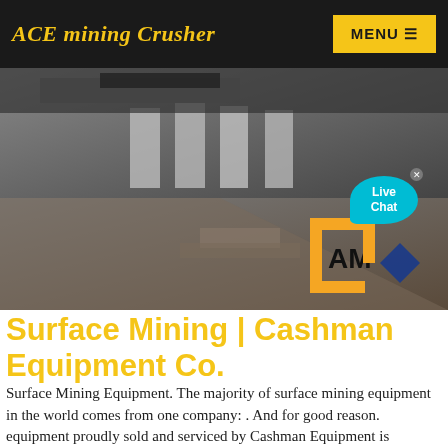ACE mining Crusher
[Figure (photo): Industrial mining equipment and crusher machinery site with concrete pillars and rubble, split into two photo views. An AMC logo with orange and blue design is visible in the lower right corner.]
Surface Mining | Cashman Equipment Co.
Surface Mining Equipment. The majority of surface mining equipment in the world comes from one company: . And for good reason. equipment proudly sold and serviced by Cashman Equipment is designed to lower cost per ton by